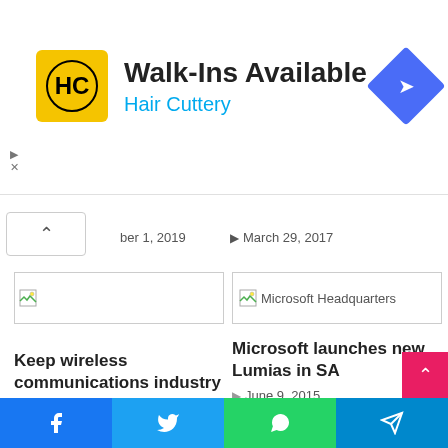[Figure (other): Hair Cuttery advertisement banner with logo, 'Walk-Ins Available' headline, and navigation arrow icon]
ber 1, 2019
March 29, 2017
[Figure (other): Broken image placeholder (left article)]
[Figure (other): Broken image placeholder with label 'Microsoft Headquarters']
Microsoft launches new Lumias in SA
June 9, 2015
Keep wireless communications industry competitive
Facebook | Twitter | WhatsApp | Telegram social share buttons